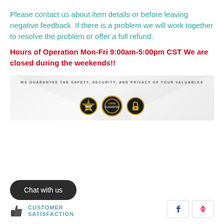Please contact us about item details or before leaving negative feedback. If there is a problem we will work together to resolve the problem or offer a full refund.
Hours of Operation Mon-Fri 9:00am-5:00pm CST We are closed during the weekends!!
[Figure (infographic): Banner with envelope background, text 'WE GUARANTEE THE SAFETY, SECURITY, AND PRIVACY OF YOUR VALUABLES' with three gold/dark badge icons below.]
Chat with us
CUSTOMER SATISFACTION